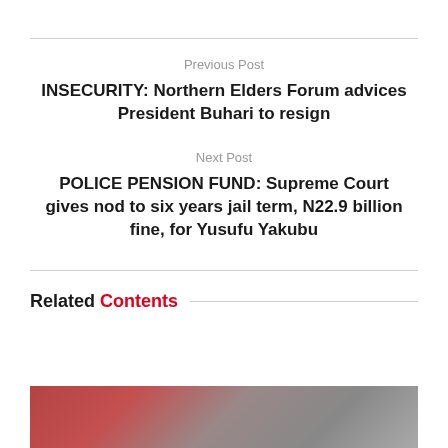Previous Post
INSECURITY: Northern Elders Forum advices President Buhari to resign
Next Post
POLICE PENSION FUND: Supreme Court gives nod to six years jail term, N22.9 billion fine, for Yusufu Yakubu
Related Contents
[Figure (photo): Partial photo visible at bottom of page, showing a person, reddish/gray tones]